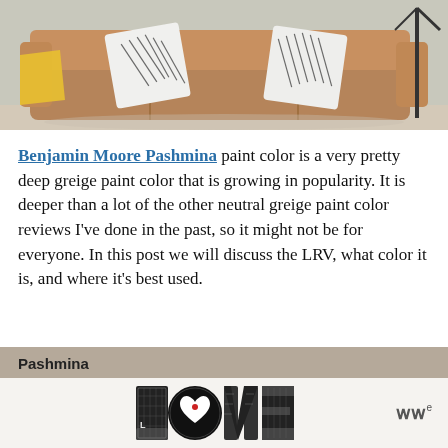[Figure (photo): A brown leather sofa with white and black patterned throw pillows against a light grey wall. A yellow throw blanket is on the left armrest. A black floor lamp is visible on the right side.]
Benjamin Moore Pashmina paint color is a very pretty deep greige paint color that is growing in popularity. It is deeper than a lot of the other neutral greige paint color reviews I've done in the past, so it might not be for everyone. In this post we will discuss the LRV, what color it is, and where it's best used.
Pashmina
[Figure (illustration): The word LOVE rendered in a decorative black and white illustrated style with intricate patterns filling each letter. The letter O contains a heart shape. A small red heart detail is visible near the center.]